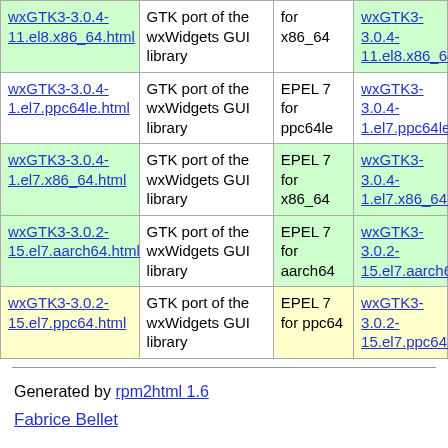| Package | Description | Repo/Arch | RPM |
| --- | --- | --- | --- |
| wxGTK3-3.0.4-11.el8.x86_64.html | GTK port of the wxWidgets GUI library | for x86_64 | wxGTK3-3.0.4-11.el8.x86_64.rpm |
| wxGTK3-3.0.4-1.el7.ppc64le.html | GTK port of the wxWidgets GUI library | EPEL 7 for ppc64le | wxGTK3-3.0.4-1.el7.ppc64le.rpm |
| wxGTK3-3.0.4-1.el7.x86_64.html | GTK port of the wxWidgets GUI library | EPEL 7 for x86_64 | wxGTK3-3.0.4-1.el7.x86_64.rpm |
| wxGTK3-3.0.2-15.el7.aarch64.html | GTK port of the wxWidgets GUI library | EPEL 7 for aarch64 | wxGTK3-3.0.2-15.el7.aarch64.rpm |
| wxGTK3-3.0.2-15.el7.ppc64.html | GTK port of the wxWidgets GUI library | EPEL 7 for ppc64 | wxGTK3-3.0.2-15.el7.ppc64.rpm |
Generated by rpm2html 1.6
Fabrice Bellet